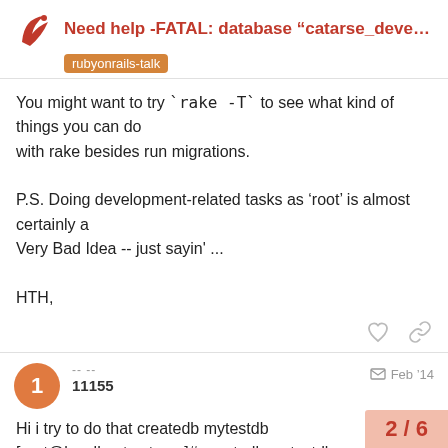Need help -FATAL: database “catarse_developm… | rubyonrails-talk
You might want to try `rake -T` to see what kind of things you can do
with rake besides run migrations.

P.S. Doing development-related tasks as 'root' is almost certainly a
Very Bad Idea -- just sayin' ...

HTH,
-- --
11155
Feb '14
Hi i try to do that createdb mytestdb
[root@localhost catarse]# createdb mytestdb
createdb: could not connect to database p
"root"
2 / 6